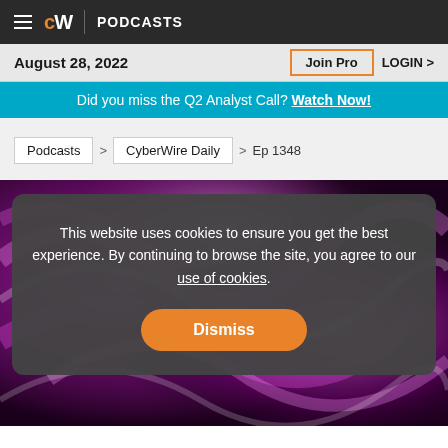CW | PODCASTS
August 28, 2022
Join Pro  LOGIN >
Did you miss the Q2 Analyst Call? Watch Now!
Podcasts > CyberWire Daily > Ep 1348
[Figure (screenshot): Purple/magenta abstract swirling background image]
This website uses cookies to ensure you get the best experience. By continuing to browse the site, you agree to our use of cookies.
Dismiss